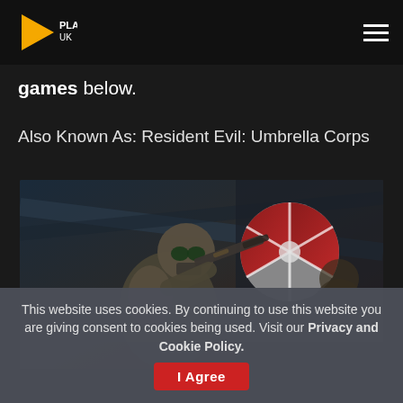PLAY4 UK
games below.
Also Known As: Resident Evil: Umbrella Corps
[Figure (photo): Screenshot from Resident Evil: Umbrella Corps showing a soldier in tactical gear with a gas mask aiming a weapon, with the Umbrella Corporation logo visible in the background]
This website uses cookies. By continuing to use this website you are giving consent to cookies being used. Visit our Privacy and Cookie Policy.